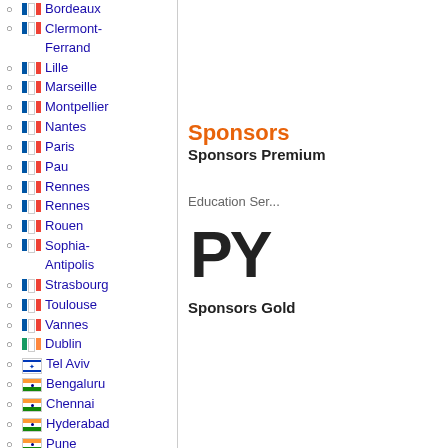Bordeaux
Clermont-Ferrand
Lille
Marseille
Montpellier
Nantes
Paris
Pau
Rennes
Rennes
Rouen
Sophia-Antipolis
Strasbourg
Toulouse
Vannes
Dublin
Tel Aviv
Bengaluru
Chennai
Hyderabad
Pune
Osaka
Sponsors
Sponsors Premium
Education Ser...
[Figure (logo): PyCharm or similar Python IDE logo showing 'PY' in dark chunky letters]
Sponsors Gold